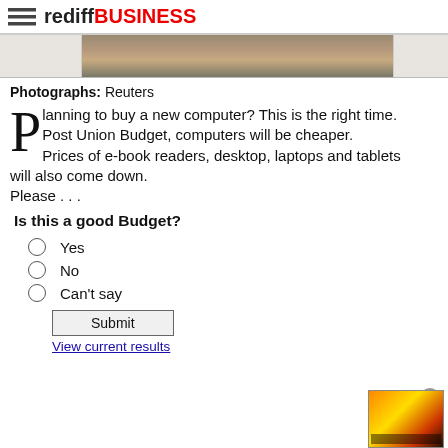rediff BUSINESS
[Figure (photo): Cropped photo strip showing a person with keyboard/papers, partial view]
Photographs: Reuters
Planning to buy a new computer? This is the right time. Post Union Budget, computers will be cheaper. Prices of e-book readers, desktop, laptops and tablets will also come down. Please . . .
Is this a good Budget?
Yes
No
Can't say
Submit
View current results